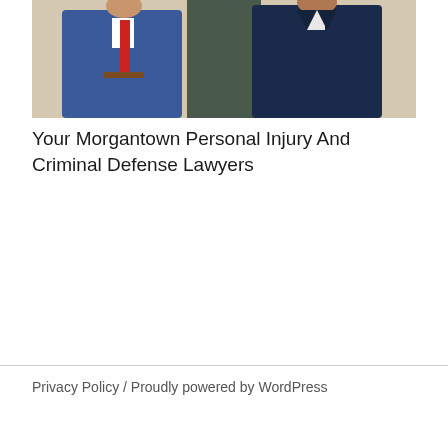[Figure (photo): Two men in business suits standing together. The man on the left is wearing a blue suit with a red tie, and the man on the right is wearing a dark navy suit. They appear to be lawyers posing for a professional photo.]
Your Morgantown Personal Injury And Criminal Defense Lawyers
Privacy Policy  /  Proudly powered by WordPress